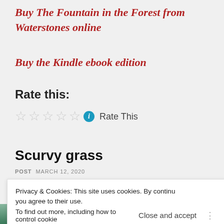Buy The Fountain in the Forest from Waterstones online
Buy the Kindle ebook edition
Rate this:
★★★★★ ℹ Rate This
Scurvy grass
POST  MARCH 12, 2020
Privacy & Cookies: This site uses cookies. By continuing to use this website, you agree to their use. To find out more, including how to control cookies, see here: Close and accept